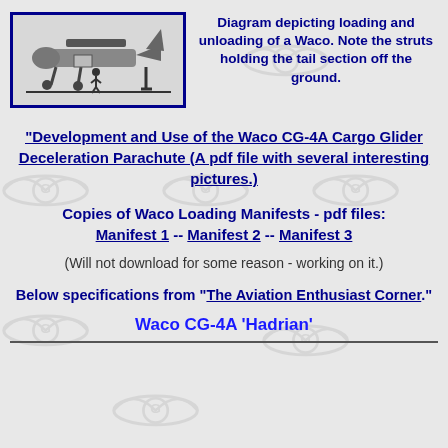[Figure (illustration): Diagram of a Waco glider being loaded/unloaded, side view, with struts holding the tail section off the ground. Bordered in blue.]
Diagram depicting loading and unloading of a Waco. Note the struts holding the tail section off the ground.
"Development and Use of the Waco CG-4A Cargo Glider Deceleration Parachute (A pdf file with several interesting pictures.)
Copies of Waco Loading Manifests - pdf files: Manifest 1 -- Manifest 2 -- Manifest 3
(Will not download for some reason - working on it.)
Below specifications from "The Aviation Enthusiast Corner."
Waco CG-4A 'Hadrian'